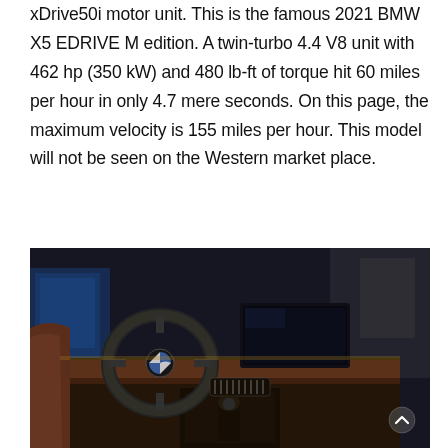xDrive50i motor unit. This is the famous 2021 BMW X5 EDRIVE M edition. A twin-turbo 4.4 V8 unit with 462 hp (350 kW) and 480 lb-ft of torque hit 60 miles per hour in only 4.7 mere seconds. On this page, the maximum velocity is 155 miles per hour. This model will not be seen on the Western market place.
[Figure (photo): Interior of a BMW X5 showing the steering wheel, dashboard, infotainment screen, gear shifter, and leather seats in a dark ambient setting with blue background light]